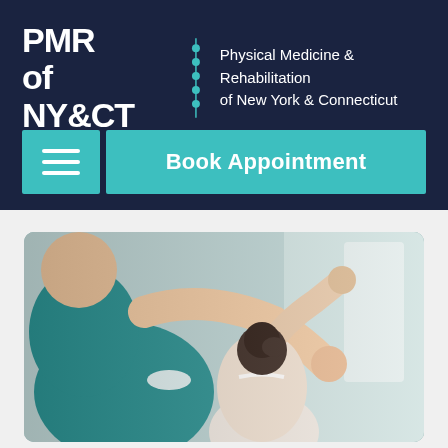[Figure (logo): PMR of NY&CT logo with spine graphic and text 'Physical Medicine & Rehabilitation of New York & Connecticut']
[Figure (infographic): Hamburger menu button (teal/turquoise square with three white horizontal lines)]
Book Appointment
[Figure (photo): Physical therapy session: a therapist in teal scrubs guides a female patient's raised arm, viewed from behind in a clinical setting]